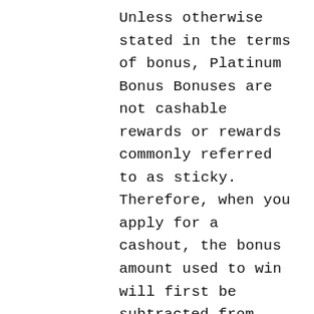Unless otherwise stated in the terms of bonus, Platinum Bonus Bonuses are not cashable rewards or rewards commonly referred to as sticky. Therefore, when you apply for a cashout, the bonus amount used to win will first be subtracted from your casino account before processing the withdrawal. When the bonus is still valid, you are restricted to betting only 10 USD or less. Usually, bonuses limit the playable games while they are still valid. Regardless of the allowed game, the games will meet the various betting requirements at various rates. Slot